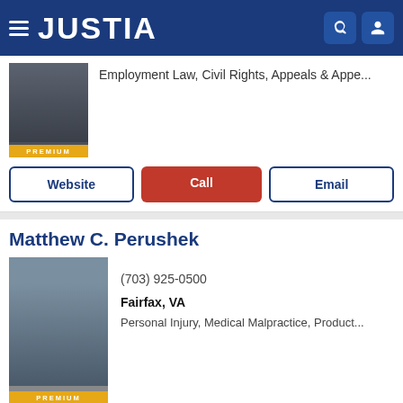JUSTIA
Employment Law, Civil Rights, Appeals & Appe...
PREMIUM
Website | Call | Email
Matthew C. Perushek
(703) 925-0500
Fairfax, VA
Personal Injury, Medical Malpractice, Product...
PREMIUM
Website | Call | Email
Merritt James Green PRO
McLean, VA
(703) 556-0411